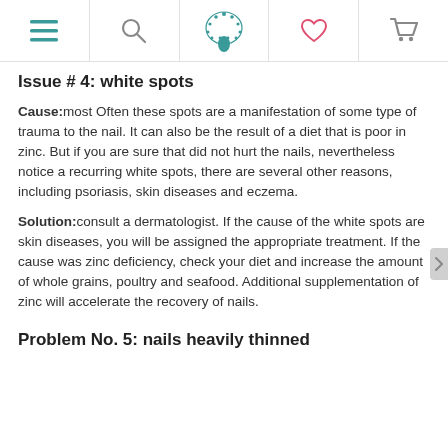Navigation header with menu, search, peacock logo, heart, and cart icons
Issue # 4: white spots
Cause: most Often these spots are a manifestation of some type of trauma to the nail. It can also be the result of a diet that is poor in zinc. But if you are sure that did not hurt the nails, nevertheless notice a recurring white spots, there are several other reasons, including psoriasis, skin diseases and eczema.
Solution: consult a dermatologist. If the cause of the white spots are skin diseases, you will be assigned the appropriate treatment. If the cause was zinc deficiency, check your diet and increase the amount of whole grains, poultry and seafood. Additional supplementation of zinc will accelerate the recovery of nails.
Problem No. 5: nails heavily thinned